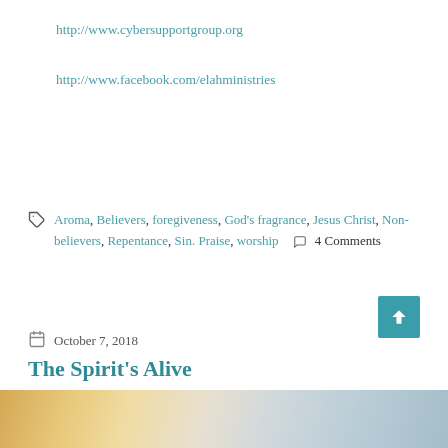http://www.cybersupportgroup.org
http://www.facebook.com/elahministries
Aroma, Believers, foregiveness, God's fragrance, Jesus Christ, Non-believers, Repentance, Sin. Praise, worship   4 Comments
October 7, 2018
The Spirit's Alive
[Figure (photo): Warm-toned photo strip at bottom of page, showing soft blurred light and color gradients]